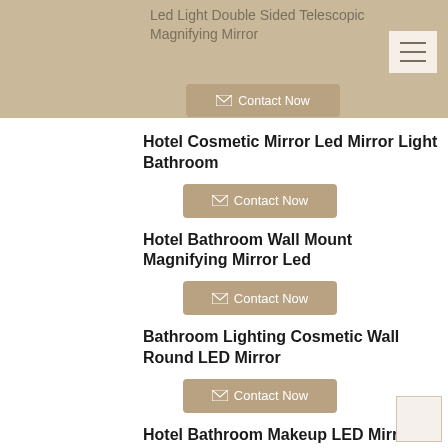Led Light Double Sided Telescopic Magnifying Mirror
Hotel Cosmetic Mirror Led Mirror Light Bathroom
Contact Now
Hotel Bathroom Wall Mount Magnifying Mirror Led
Contact Now
Bathroom Lighting Cosmetic Wall Round LED Mirror
Contact Now
Hotel Bathroom Makeup LED Mirror With Light
Contact Now